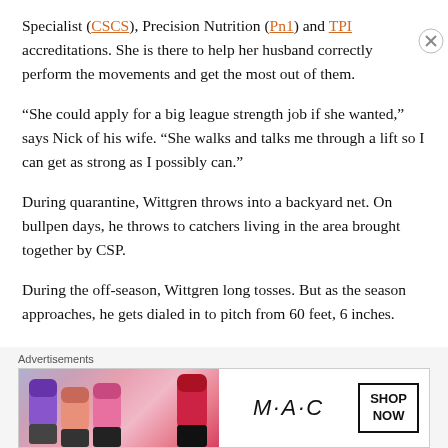Specialist (CSCS), Precision Nutrition (Pn1) and TPI accreditations. She is there to help her husband correctly perform the movements and get the most out of them.
“She could apply for a big league strength job if she wanted,” says Nick of his wife. “She walks and talks me through a lift so I can get as strong as I possibly can.”
During quarantine, Wittgren throws into a backyard net. On bullpen days, he throws to catchers living in the area brought together by CSP.
During the off-season, Wittgren long tosses. But as the season approaches, he gets dialed in to pitch from 60 feet, 6 inches.
[Figure (advertisement): MAC Cosmetics advertisement showing lipsticks with SHOP NOW button]